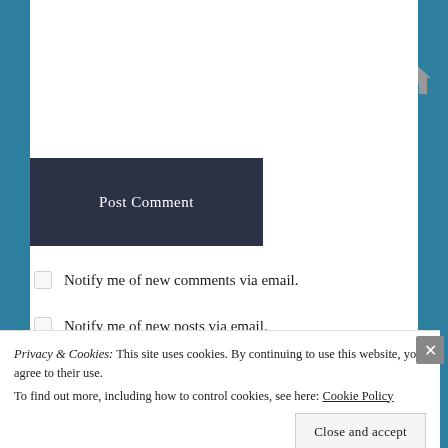[Figure (screenshot): Website URL input field (white, bordered, top of form)]
[Figure (screenshot): Gray textarea/website box with home icon in lower right]
Post Comment
Notify me of new comments via email.
Notify me of new posts via email.
[Figure (photo): Partial blog card with colorful image at bottom of page]
Privacy & Cookies: This site uses cookies. By continuing to use this website, you agree to their use.
To find out more, including how to control cookies, see here: Cookie Policy
Close and accept